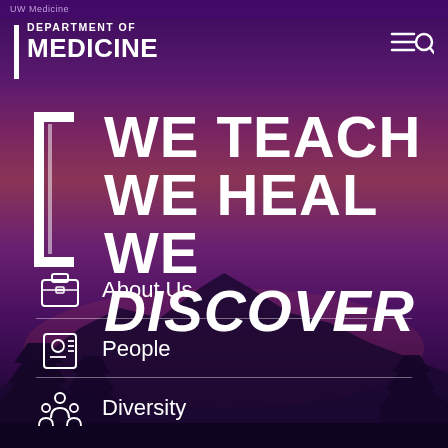UW Medicine
DEPARTMENT OF MEDICINE
WE TEACH WE HEAL WE DISCOVER
About Us
People
Diversity